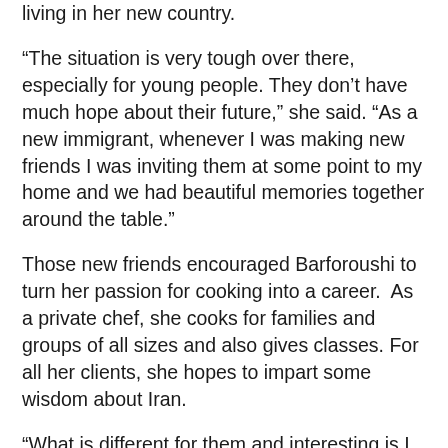living in her new country.
“The situation is very tough over there, especially for young people. They don’t have much hope about their future,” she said. “As a new immigrant, whenever I was making new friends I was inviting them at some point to my home and we had beautiful memories together around the table.”
Those new friends encouraged Barforoushi to turn her passion for cooking into a career.  As a private chef, she cooks for families and groups of all sizes and also gives classes. For all her clients, she hopes to impart some wisdom about Iran.
“What is different for them and interesting is I talk about our culture,” she said. “I feel I connect them to my place of birth and my country and origin. I see they are connecting with what they are eating and that makes me happy.”
With immigrants throughout the United States and b...